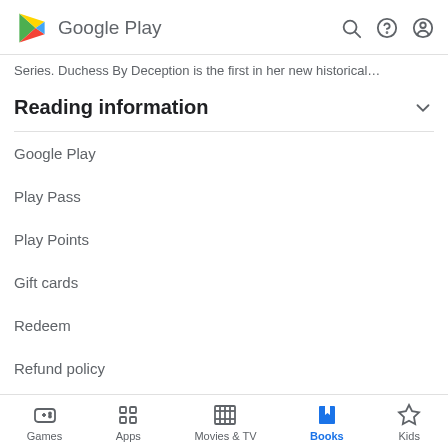Google Play
Series. Duchess By Deception is the first in her new historical...
Reading information
Google Play
Play Pass
Play Points
Gift cards
Redeem
Refund policy
Games  Apps  Movies & TV  Books  Kids